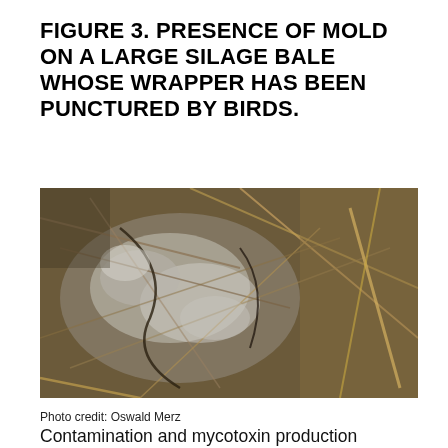FIGURE 3. PRESENCE OF MOLD ON A LARGE SILAGE BALE WHOSE WRAPPER HAS BEEN PUNCTURED BY BIRDS.
[Figure (photo): Close-up photograph of mold growth on a large silage bale. The bale surface shows white/grey mold spread across dry straw and hay material, with some darker areas. The wrapper has been punctured by birds, allowing moisture and air to enter causing mold.]
Photo credit: Oswald Merz
Contamination and mycotoxin production can occur in the field, during harvest and